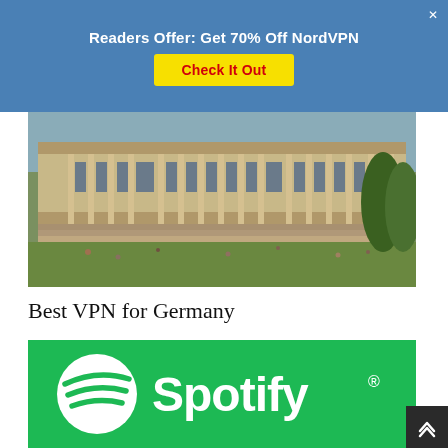Readers Offer: Get 70% Off NordVPN — Check It Out
[Figure (photo): Photograph of a large neoclassical building (Reichstag) with columns and steps, green lawn in foreground with people, trees visible on the right]
Best VPN for Germany
[Figure (logo): Spotify logo on green background: white circle with three curved white lines inside (Spotify icon) followed by 'Spotify' wordmark in white with registered trademark symbol]